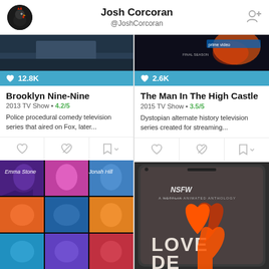Josh Corcoran @JoshCorcoran
[Figure (screenshot): Brooklyn Nine-Nine TV show card with 12.8K likes, rating 4.2/5, description and action buttons]
[Figure (screenshot): The Man In The High Castle TV show card with 2.6K likes, rating 3.5/5, description and action buttons]
[Figure (photo): Emma Stone and Jonah Hill colorized grid movie poster]
[Figure (photo): NSFW Love Death animated anthology show poster]